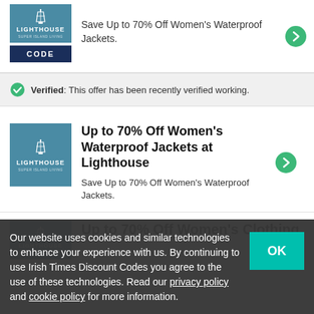[Figure (logo): Lighthouse brand logo with CODE button below]
Save Up to 70% Off Women's Waterproof Jackets.
Verified: This offer has been recently verified working.
[Figure (logo): Lighthouse brand logo square]
Up to 70% Off Women's Waterproof Jackets at Lighthouse
Save Up to 70% Off Women's Waterproof Jackets.
[Figure (logo): Lighthouse brand logo square partial]
Up to 70% Off Women's Clothing
Our website uses cookies and similar technologies to enhance your experience with us. By continuing to use Irish Times Discount Codes you agree to the use of these technologies. Read our privacy policy and cookie policy for more information.